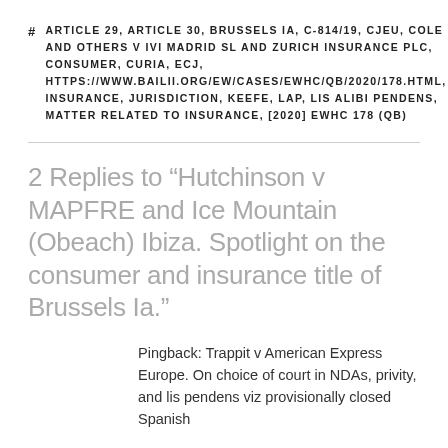# ARTICLE 29, ARTICLE 30, BRUSSELS IA, C-814/19, CJEU, COLE AND OTHERS V IVI MADRID SL AND ZURICH INSURANCE PLC, CONSUMER, CURIA, ECJ, HTTPS://WWW.BAILII.ORG/EW/CASES/EWHC/QB/2020/178.HTML, INSURANCE, JURISDICTION, KEEFE, LAP, LIS ALIBI PENDENS, MATTER RELATED TO INSURANCE, [2020] EWHC 178 (QB)
2 Replies to “Hutchinson v MAPFRE and Ice Mountain (Obeach) Ibiza. Spotlight on the consumer and insurance title of Brussels Ia.”
Pingback: Trappit v American Express Europe. On choice of court in NDAs, privity, and lis pendens viz provisionally closed Spanish